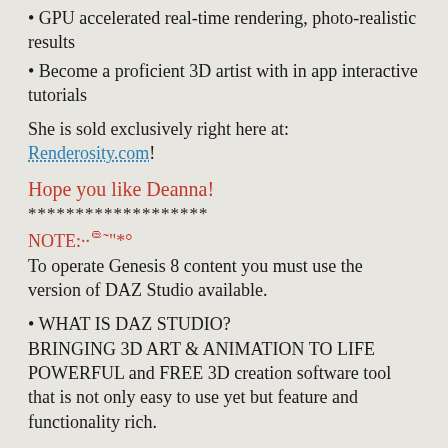• GPU accelerated real-time rendering, photo-realistic results
• Become a proficient 3D artist with in app interactive tutorials
She is sold exclusively right here at: Renderosity.com!
Hope you like Deanna!
*******************
NOTE:··᪤˜"*°
To operate Genesis 8 content you must use the version of DAZ Studio available.
• WHAT IS DAZ STUDIO?
BRINGING 3D ART & ANIMATION TO LIFE POWERFUL and FREE 3D creation software tool that is not only easy to use yet but feature and functionality rich.